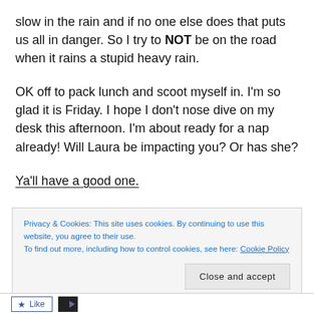slow in the rain and if no one else does that puts us all in danger. So I try to NOT be on the road when it rains a stupid heavy rain.
OK off to pack lunch and scoot myself in. I'm so glad it is Friday. I hope I don't nose dive on my desk this afternoon. I'm about ready for a nap already! Will Laura be impacting you? Or has she?
Ya'll have a good one.
Privacy & Cookies: This site uses cookies. By continuing to use this website, you agree to their use.
To find out more, including how to control cookies, see here: Cookie Policy
Close and accept
Like